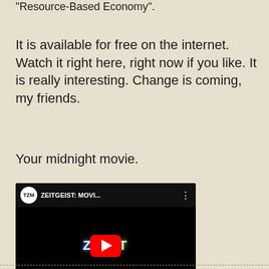"Resource-Based Economy".
It is available for free on the internet. Watch it right here, right now if you like. It is really interesting. Change is coming, my friends.
Your midnight movie.
[Figure (screenshot): Embedded YouTube video player showing ZEITGEIST: MOVI... with TZM logo, play button, and partial text 'ZE...ST' on black background]